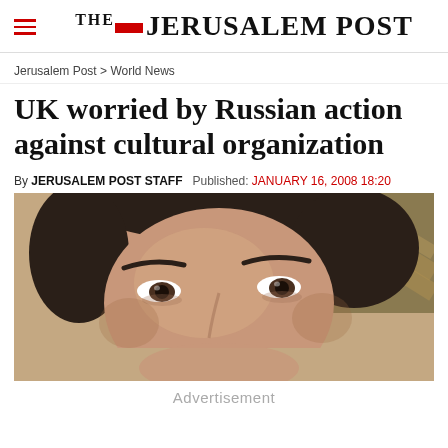THE JERUSALEM POST
Jerusalem Post > World News
UK worried by Russian action against cultural organization
By JERUSALEM POST STAFF   Published: JANUARY 16, 2008 18:20
[Figure (photo): Close-up photograph of a man's face, cropped to show forehead, eyes, and part of nose against a blurred background]
Advertisement